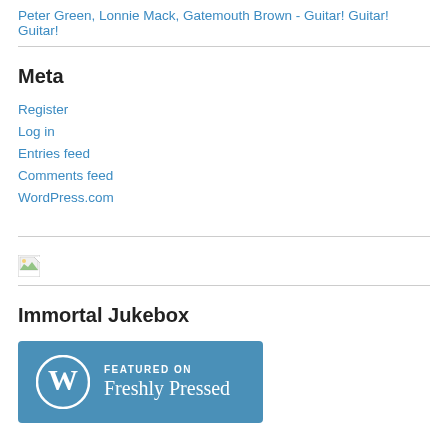Peter Green, Lonnie Mack, Gatemouth Brown - Guitar! Guitar! Guitar!
Meta
Register
Log in
Entries feed
Comments feed
WordPress.com
[Figure (other): Broken image placeholder (small icon with green/white image error indicator)]
Immortal Jukebox
[Figure (logo): WordPress Freshly Pressed badge — blue background with WordPress logo (W in circle) on left, text 'FEATURED ON Freshly Pressed' on right]